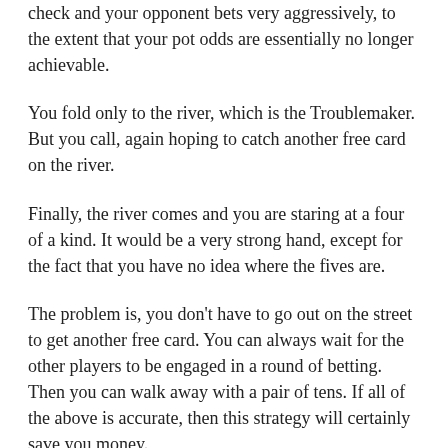check and your opponent bets very aggressively, to the extent that your pot odds are essentially no longer achievable.
You fold only to the river, which is the Troublemaker. But you call, again hoping to catch another free card on the river.
Finally, the river comes and you are staring at a four of a kind. It would be a very strong hand, except for the fact that you have no idea where the fives are.
The problem is, you don't have to go out on the street to get another free card. You can always wait for the other players to be engaged in a round of betting. Then you can walk away with a pair of tens. If all of the above is accurate, then this strategy will certainly save you money.